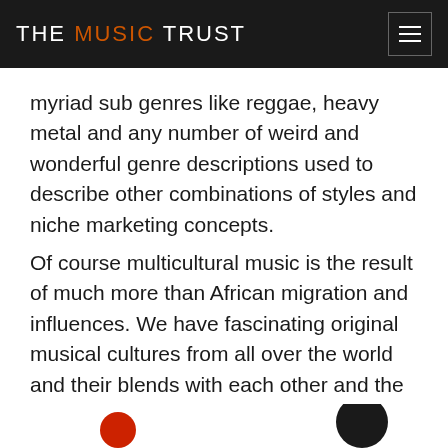THE MUSIC TRUST
myriad sub genres like reggae, heavy metal and any number of weird and wonderful genre descriptions used to describe other combinations of styles and niche marketing concepts.
Of course multicultural music is the result of much more than African migration and influences. We have fascinating original musical cultures from all over the world and their blends with each other and the ever-growing genres in popular music.
[Figure (photo): Partial circular image visible at bottom left, red colored]